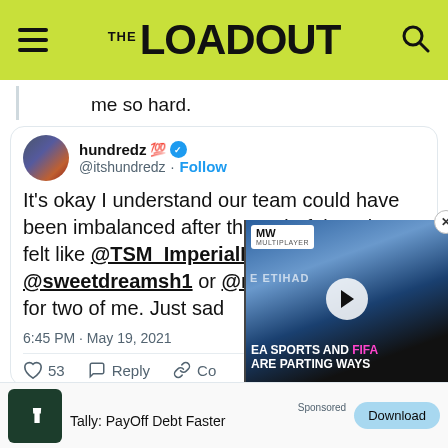THE LOADOUT
me so hard.
hundredz 💯 @itshundredz · Follow
It's okay I understand our team could have been imbalanced after the redraft but I just felt like @TSM_ImperialHal or @sweetdreamsh1 or @retzi just made up for two of me. Just sad... play.
6:45 PM · May 19, 2021
♡ 53  Reply  Copy
[Figure (screenshot): EA Sports and FIFA Are Parting Ways video overlay thumbnail]
Sponsored
Tally: PayOff Debt Faster  Download